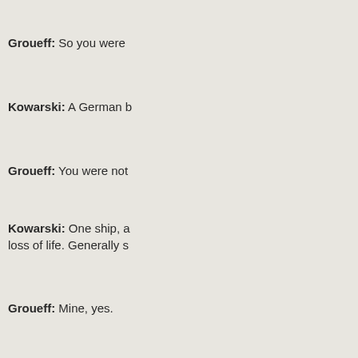Groueff: So you were
Kowarski: A German b
Groueff: You were not
Kowarski: One ship, a loss of life. Generally s
Groueff: Mine, yes.
Kowarski: But this wa that we were on that sh
Groueff: I see. Of that there any talk about m bomb-making. So why
Kowarski: Well, this is For fast neutrons, you uranium-235 at that tim